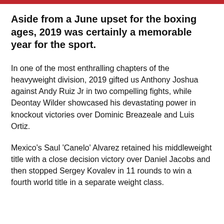Aside from a June upset for the boxing ages, 2019 was certainly a memorable year for the sport.
In one of the most enthralling chapters of the heavyweight division, 2019 gifted us Anthony Joshua against Andy Ruiz Jr in two compelling fights, while Deontay Wilder showcased his devastating power in knockout victories over Dominic Breazeale and Luis Ortiz.
Mexico's Saul 'Canelo' Alvarez retained his middleweight title with a close decision victory over Daniel Jacobs and then stopped Sergey Kovalev in 11 rounds to win a fourth world title in a separate weight class.